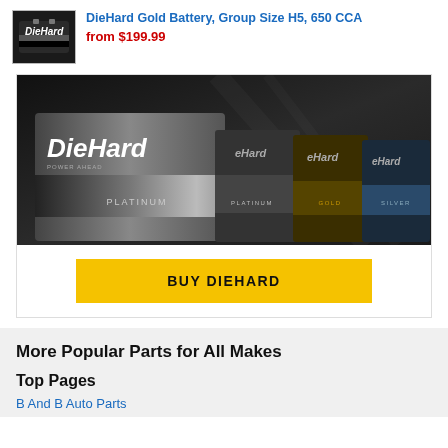[Figure (photo): DieHard car battery product thumbnail image]
DieHard Gold Battery, Group Size H5, 650 CCA
from $199.99
[Figure (photo): DieHard battery brand advertisement showing Platinum, Gold, and Silver battery lineup with BUY DIEHARD button]
More Popular Parts for All Makes
Top Pages
B And B Auto Parts